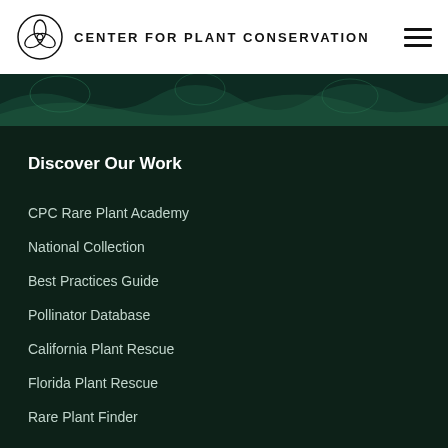CENTER FOR PLANT CONSERVATION
[Figure (illustration): Dark green botanical banner image strip with leaf patterns]
Discover Our Work
CPC Rare Plant Academy
National Collection
Best Practices Guide
Pollinator Database
California Plant Rescue
Florida Plant Rescue
Rare Plant Finder